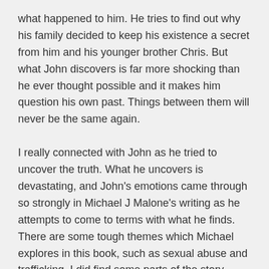what happened to him. He tries to find out why his family decided to keep his existence a secret from him and his younger brother Chris. But what John discovers is far more shocking than he ever thought possible and it makes him question his own past. Things between them will never be the same again.
I really connected with John as he tried to uncover the truth. What he uncovers is devastating, and John's emotions came through so strongly in Michael J Malone's writing as he attempts to come to terms with what he finds. There are some tough themes which Michael explores in this book, such as sexual abuse and trafficking. I did find some parts of the story uncomfortable to read at times, but I was compelled to read on, and Michael deals with these subjects sensitively, not making them over gratuitous. Michael